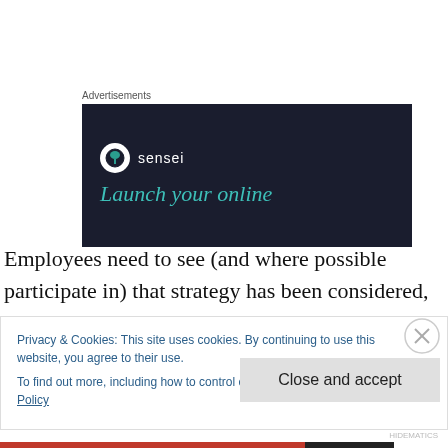[Figure (other): Advertisement banner for 'sensei' with dark navy background, sensei logo (tree in circle), and text 'Launch your online' in teal italic serif font]
Employees need to see (and where possible participate in) that strategy has been considered, debated and choices have been tested alongside the companies best portrait of
Privacy & Cookies: This site uses cookies. By continuing to use this website, you agree to their use.
To find out more, including how to control cookies, see here: Cookie Policy
Close and accept